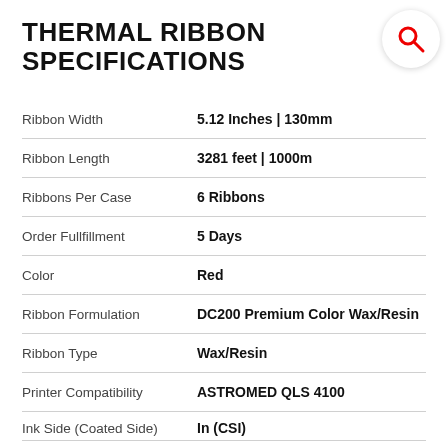THERMAL RIBBON SPECIFICATIONS
| Property | Value |
| --- | --- |
| Ribbon Width | 5.12 Inches | 130mm |
| Ribbon Length | 3281 feet | 1000m |
| Ribbons Per Case | 6 Ribbons |
| Order Fullfillment | 5 Days |
| Color | Red |
| Ribbon Formulation | DC200 Premium Color Wax/Resin |
| Ribbon Type | Wax/Resin |
| Printer Compatibility | ASTROMED QLS 4100 |
| Ink Side (Coated Side) | In (CSI) |